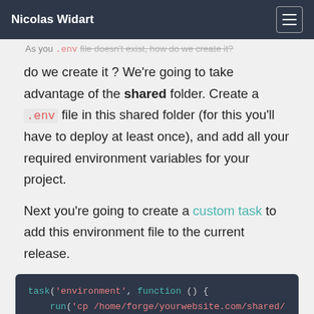Nicolas Widart
As you .env file doesn't exist, how do we create it ? We're going to take advantage of the shared folder. Create a .env file in this shared folder (for this you'll have to deploy at least once), and add all your required environment variables for your project.
Next you're going to create a custom task to add this environment file to the current release.
task('environment', function () {
    run('cp /home/forge/yourwebsite.com/shared/